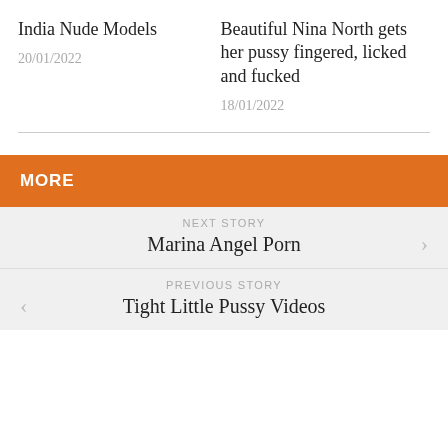India Nude Models
20/01/2022
Beautiful Nina North gets her pussy fingered, licked and fucked
18/01/2022
MORE
NEXT STORY
Marina Angel Porn
PREVIOUS STORY
Tight Little Pussy Videos